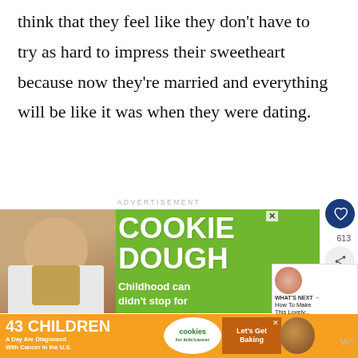think that they feel like they don't have to try as hard to impress their sweetheart because now they're married and everything will be like it was when they were dating.
ADVERTISEMENT
[Figure (photo): Advertisement banner featuring a child smiling and holding a jar, with green background and text reading COOKIE DOUGH. Childhood cancer didn't stop for... Below is an orange strip reading 43 CHILDREN A Day Are Diagnosed With Cancer in the U.S., with a cookies for kids cancer logo and Let's Get Baking button.]
[Figure (infographic): Sidebar showing heart icon button with count 613, share button, and What's Next section showing How To Make This Lovely...]